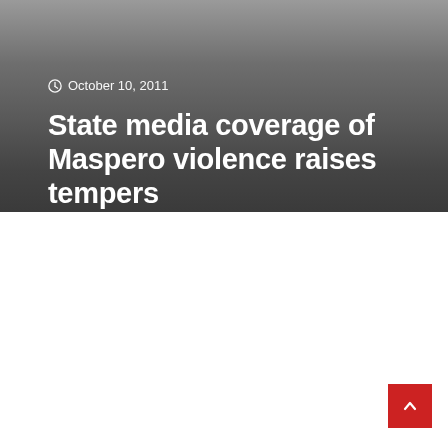[Figure (photo): Dark gray gradient hero image background for a news article header]
October 10, 2011
State media coverage of Maspero violence raises tempers